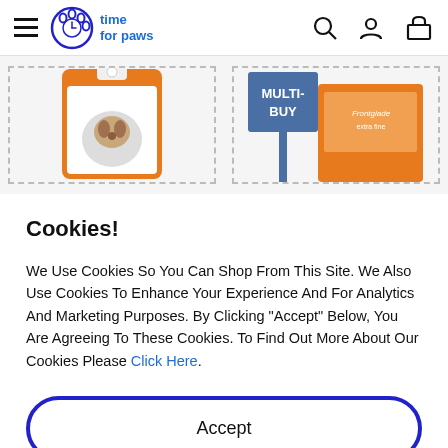[Figure (screenshot): Website navigation bar with hamburger menu, Time for Paws logo (paw print icon with clock), and icons for search, user account, and shopping basket on the right]
[Figure (photo): Partial view of two product cards with dashed borders. Left shows a dog flea treatment product in orange packaging. Right shows a product with a 'MULTI-BUY' tag and orange box labeled Frontline.]
Cookies!
We Use Cookies So You Can Shop From This Site. We Also Use Cookies To Enhance Your Experience And For Analytics And Marketing Purposes. By Clicking "Accept" Below, You Are Agreeing To These Cookies. To Find Out More About Our Cookies Please Click Here.
Accept
Decline